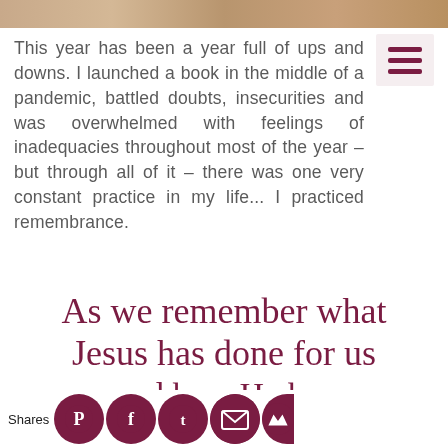[Figure (photo): Top image strip showing a partial photo, appears to be a person or scene, cropped as a horizontal banner]
This year has been a year full of ups and downs. I launched a book in the middle of a pandemic, battled doubts, insecurities and was overwhelmed with feelings of inadequacies throughout most of the year – but through all of it – there was one very constant practice in my life... I practiced remembrance.
[Figure (illustration): Hamburger/menu icon in top right corner with three dark maroon horizontal lines on a light pink background]
As we remember what Jesus has done for us and how He has continually shown up for us, it enables us to
Shares